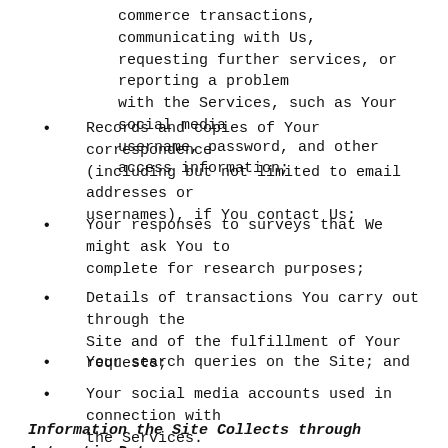commerce transactions, communicating with Us, requesting further services, or reporting a problem with the Services, such as Your social media username, password, and other access information;
Records and copies of Your correspondence (including but not limited to email addresses or usernames), if You contact Us;
Your responses to surveys that We might ask You to complete for research purposes;
Details of transactions You carry out through the Site and of the fulfillment of Your requests;
Your search queries on the Site; and
Your social media accounts used in connection with the Services.
Information the Site Collects through Automatic Data